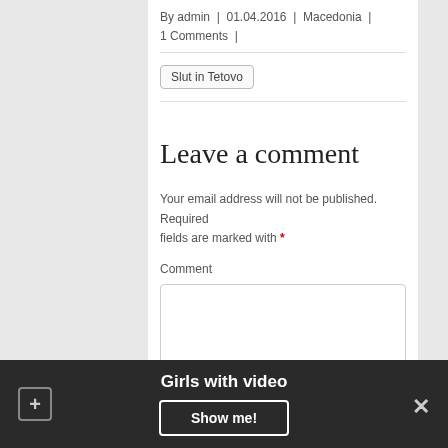By admin | 01.04.2016 | Macedonia | 1 Comments |
Slut in Tetovo
Leave a comment
Your email address will not be published. Required fields are marked with *
Comment
Girls with video
Show me!